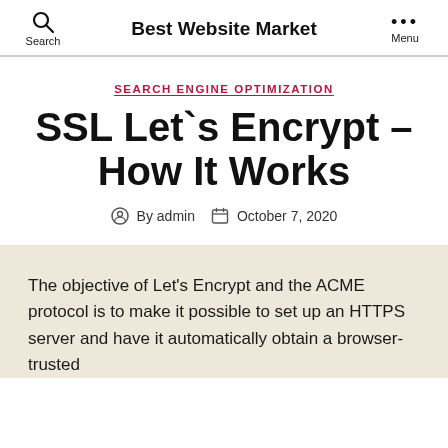Search  Best Website Market  ••• Menu
SEARCH ENGINE OPTIMIZATION
SSL Let`s Encrypt – How It Works
By admin   October 7, 2020
The objective of Let's Encrypt and the ACME protocol is to make it possible to set up an HTTPS server and have it automatically obtain a browser-trusted